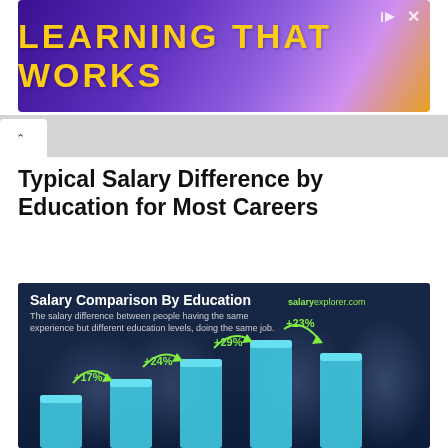[Figure (other): Ad banner: LEARNING THAT WORKS on purple-to-yellow gradient background]
Typical Salary Difference by Education for Most Careers
[Figure (bar-chart): Bar chart showing salary increases by education level with percentage labels: +17%, +24%, +29%, +23% between consecutive bars. Source: salaryexplorer.com]